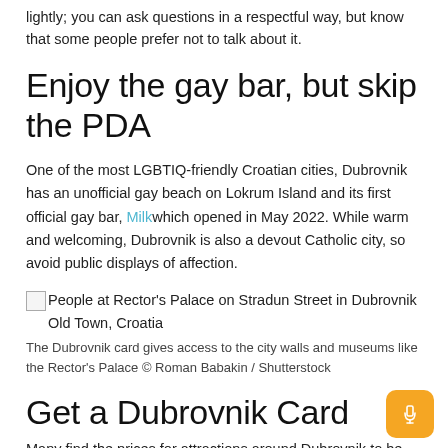lightly; you can ask questions in a respectful way, but know that some people prefer not to talk about it.
Enjoy the gay bar, but skip the PDA
One of the most LGBTIQ-friendly Croatian cities, Dubrovnik has an unofficial gay beach on Lokrum Island and its first official gay bar, Milk which opened in May 2022. While warm and welcoming, Dubrovnik is also a devout Catholic city, so avoid public displays of affection.
[Figure (photo): People at Rector's Palace on Stradun Street in Dubrovnik Old Town, Croatia]
The Dubrovnik card gives access to the city walls and museums like the Rector's Palace © Roman Babakin / Shutterstock
Get a Dubrovnik Card
Many find the prices for attractions around Dubrovnik to be higher,